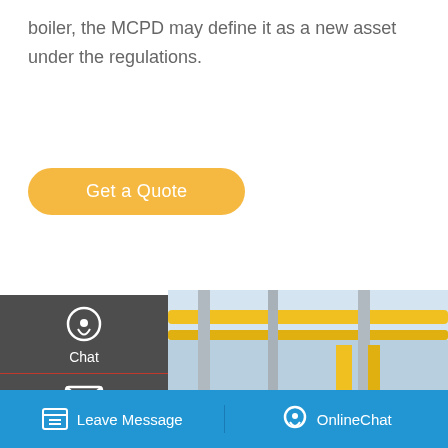boiler, the MCPD may define it as a new asset under the regulations.
Get a Quote
[Figure (screenshot): Industrial boiler room with large blue cylindrical boilers, yellow pipework, metal stairs, and white structural columns in a factory setting]
Chat
Email
Contact
Save Stickers on WhatsApp
Leave Message
OnlineChat